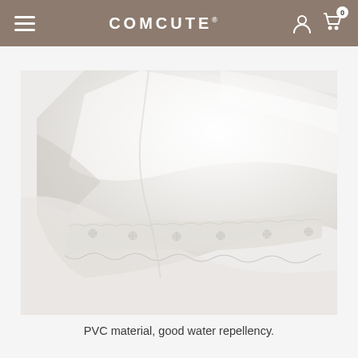COMCUTE
[Figure (photo): Close-up of white PVC fabric with scalloped lace-like textured edge trim, showing the material detail with soft folds.]
PVC material, good water repellency.